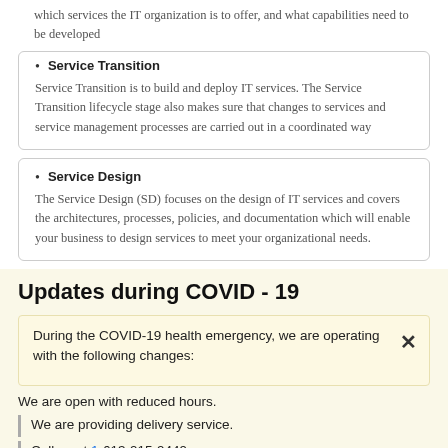which services the IT organization is to offer, and what capabilities need to be developed
Service Transition
Service Transition is to build and deploy IT services. The Service Transition lifecycle stage also makes sure that changes to services and service management processes are carried out in a coordinated way
Service Design
The Service Design (SD) focuses on the design of IT services and covers the architectures, processes, policies, and documentation which will enable your business to design services to meet your organizational needs.
Updates during COVID - 19
During the COVID-19 health emergency, we are operating with the following changes:
We are open with reduced hours.
We are providing delivery service.
Call us at 1-613-915-9449